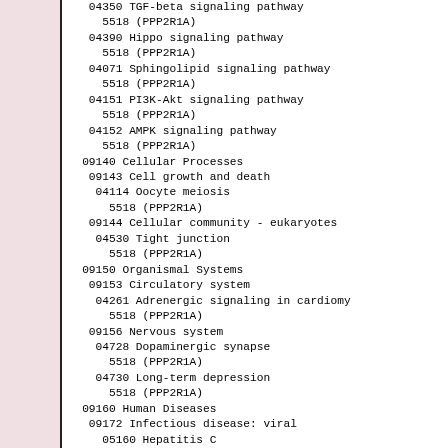04350 TGF-beta signaling pathway
    5518 (PPP2R1A)
04390 Hippo signaling pathway
    5518 (PPP2R1A)
04071 Sphingolipid signaling pathway
    5518 (PPP2R1A)
04151 PI3K-Akt signaling pathway
    5518 (PPP2R1A)
04152 AMPK signaling pathway
    5518 (PPP2R1A)
09140 Cellular Processes
 09143 Cell growth and death
  04114 Oocyte meiosis
      5518 (PPP2R1A)
 09144 Cellular community - eukaryotes
  04530 Tight junction
      5518 (PPP2R1A)
09150 Organismal Systems
 09153 Circulatory system
  04261 Adrenergic signaling in cardiomy
      5518 (PPP2R1A)
 09156 Nervous system
  04728 Dopaminergic synapse
      5518 (PPP2R1A)
  04730 Long-term depression
      5518 (PPP2R1A)
09160 Human Diseases
 09172 Infectious disease: viral
  05160 Hepatitis C